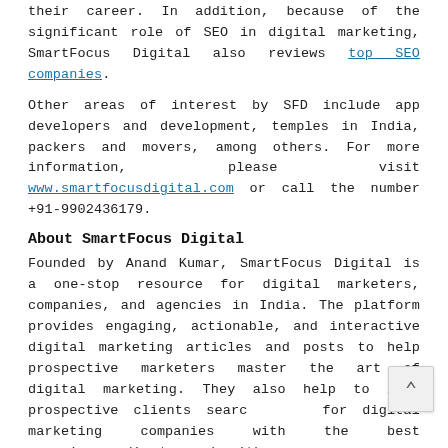their career. In addition, because of the significant role of SEO in digital marketing, SmartFocus Digital also reviews top SEO companies.
Other areas of interest by SFD include app developers and development, temples in India, packers and movers, among others. For more information, please visit www.smartfocusdigital.com or call the number +91-9902436179.
About SmartFocus Digital
Founded by Anand Kumar, SmartFocus Digital is a one-stop resource for digital marketers, companies, and agencies in India. The platform provides engaging, actionable, and interactive digital marketing articles and posts to help prospective marketers master the art of digital marketing. They also help to link prospective clients searching for digital marketing companies with the best agencies in India to work with.